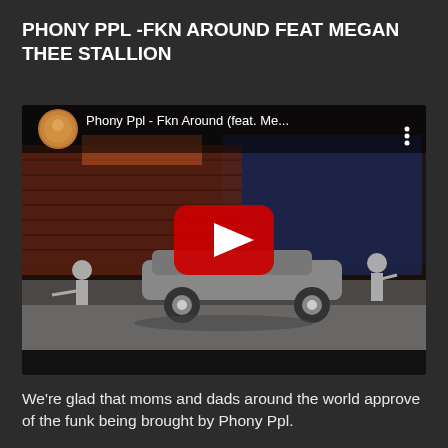PHONY PPL -FKN AROUND FEAT MEGAN THEE STALLION
[Figure (screenshot): YouTube video embed showing Phony Ppl - Fkn Around (feat. Me... with a play button overlay. The video thumbnail shows an animated scene with characters playing instruments and riding in a lowrider car against a stylized background. A circular avatar of the band appears in the top left corner of the video player.]
We're glad that moms and dads around the world approve of the funk being brought by Phony Ppl.